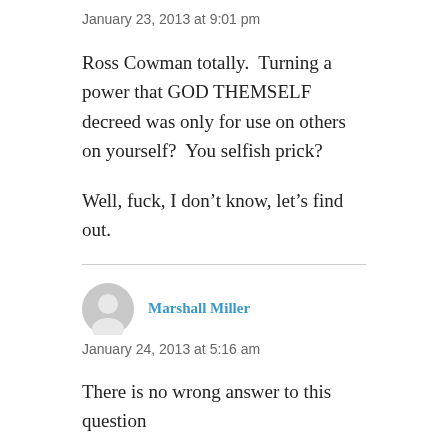January 23, 2013 at 9:01 pm
Ross Cowman totally.  Turning a power that GOD THEMSELF decreed was only for use on others on yourself?  You selfish prick?

Well, fuck, I don’t know, let’s find out.
Marshall Miller
January 24, 2013 at 5:16 am
There is no wrong answer to this question